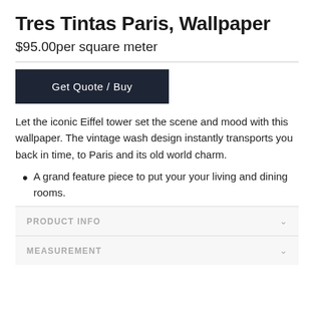Tres Tintas Paris, Wallpaper
$95.00per square meter
[Figure (other): Dark navy 'Get Quote / Buy' button]
Let the iconic Eiffel tower set the scene and mood with this wallpaper. The vintage wash design instantly transports you back in time, to Paris and its old world charm.
A grand feature piece to put your your living and dining rooms.
PRODUCT INFO
MEASUREMENT